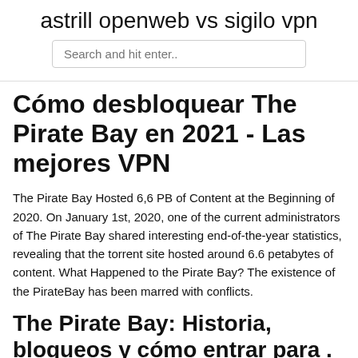astrill openweb vs sigilo vpn
Cómo desbloquear The Pirate Bay en 2021 - Las mejores VPN
The Pirate Bay Hosted 6,6 PB of Content at the Beginning of 2020. On January 1st, 2020, one of the current administrators of The Pirate Bay shared interesting end-of-the-year statistics, revealing that the torrent site hosted around 6.6 petabytes of content. What Happened to the Pirate Bay? The existence of the PirateBay has been marred with conflicts.
The Pirate Bay: Historia, bloqueos y cómo entrar para .
What Happened to the Pirate Bay? The existence of the PirateBay has been marred with conflicts. However, none of